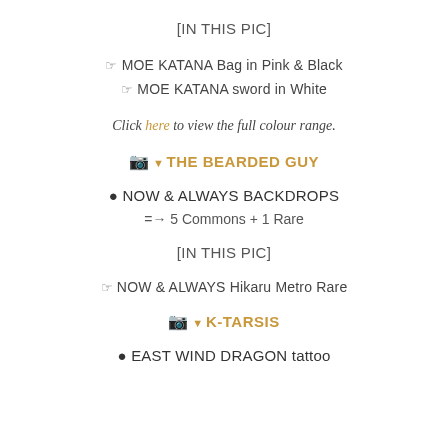[IN THIS PIC]
☞ MOE KATANA Bag in Pink & Black
☞ MOE KATANA sword in White
Click here to view the full colour range.
📷 ▼ THE BEARDED GUY
● NOW & ALWAYS BACKDROPS
=→ 5 Commons + 1 Rare
[IN THIS PIC]
☞ NOW & ALWAYS Hikaru Metro Rare
📷 ▼ K-TARSIS
● EAST WIND DRAGON tattoo